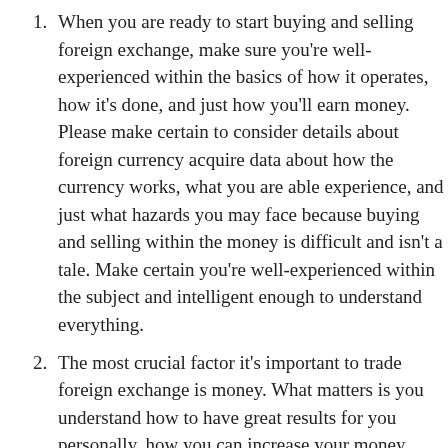When you are ready to start buying and selling foreign exchange, make sure you're well-experienced within the basics of how it operates, how it's done, and just how you'll earn money. Please make certain to consider details about foreign currency acquire data about how the currency works, what you are able experience, and just what hazards you may face because buying and selling within the money is difficult and isn't a tale. Make certain you're well-experienced within the subject and intelligent enough to understand everything.
The most crucial factor it's important to trade foreign exchange is money. What matters is you understand how to have great results for you personally, how you can increase your money,